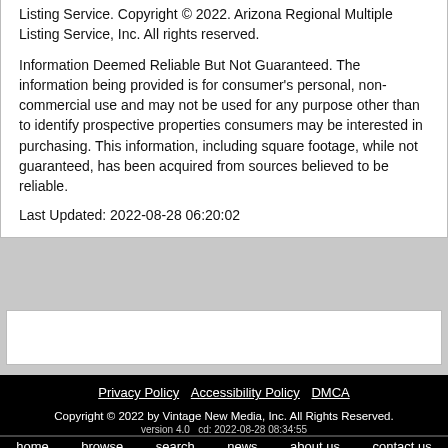Listing Service. Copyright © 2022. Arizona Regional Multiple Listing Service, Inc. All rights reserved.
Information Deemed Reliable But Not Guaranteed. The information being provided is for consumer's personal, non-commercial use and may not be used for any purpose other than to identify prospective properties consumers may be interested in purchasing. This information, including square footage, while not guaranteed, has been acquired from sources believed to be reliable.
Last Updated: 2022-08-28 06:20:02
Privacy Policy  Accessibility Policy  DMCA
Copyright © 2022 by Vintage New Media, Inc. All Rights Reserved.
version 4.0   cd: 2022-08-28 08:34:55
home  browse  search  news  about us  contact us